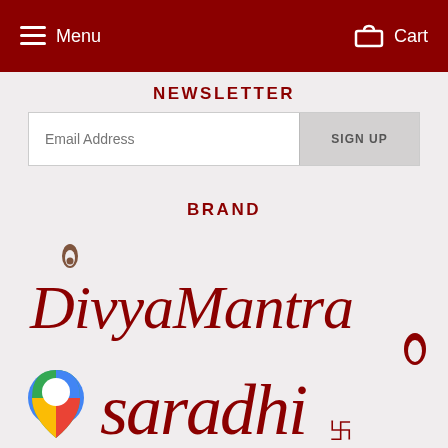Menu   Cart
NEWSLETTER
Email Address   SIGN UP
BRAND
[Figure (logo): DivyaMantra brand logo in dark red script lettering with a flame/lotus icon, and a partial second logo (Saradhi) with Google Maps pin icon visible at the bottom]